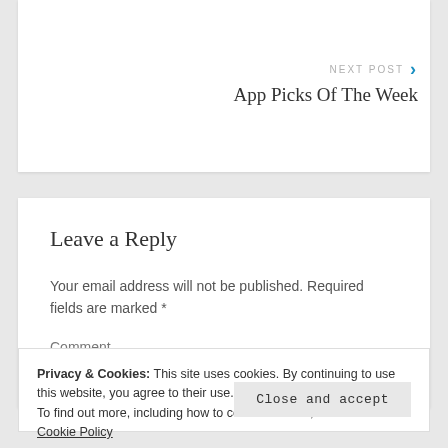NEXT POST
App Picks Of The Week
Leave a Reply
Your email address will not be published. Required fields are marked *
Comment
*
Privacy & Cookies: This site uses cookies. By continuing to use this website, you agree to their use.
To find out more, including how to control cookies, see here: Cookie Policy
Close and accept